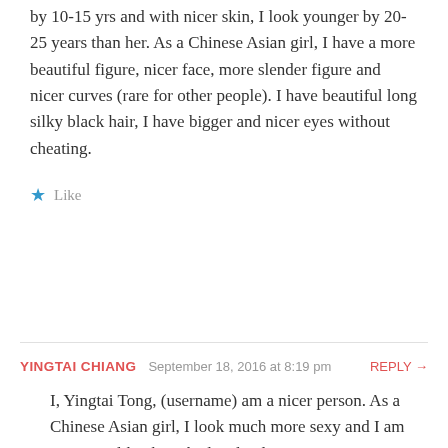by 10-15 yrs and with nicer skin, I look younger by 20-25 years than her. As a Chinese Asian girl, I have a more beautiful figure, nicer face, more slender figure and nicer curves (rare for other people). I have beautiful long silky black hair, I have bigger and nicer eyes without cheating.
★ Like
YINGTAI CHIANG  September 18, 2016 at 8:19 pm  REPLY →
I, Yingtai Tong, (username) am a nicer person. As a Chinese Asian girl, I look much more sexy and I am not mean like those bad and ugly caucasian pin up women who are fraudulent, are NOT beautiful at